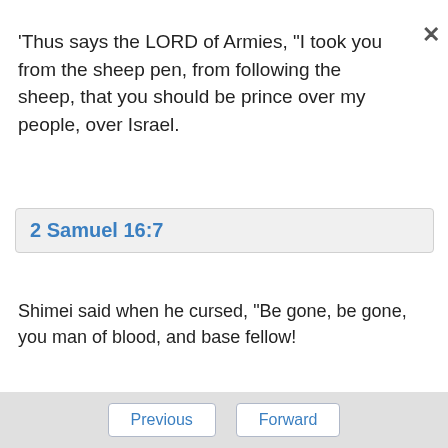'Thus says the LORD of Armies, "I took you from the sheep pen, from following the sheep, that you should be prince over my people, over Israel.
2 Samuel 16:7
Shimei said when he cursed, "Be gone, be gone, you man of blood, and base fellow!
2 Samuel 17:9
Behold, he is now hidden in some pit, or in some
Previous   Forward